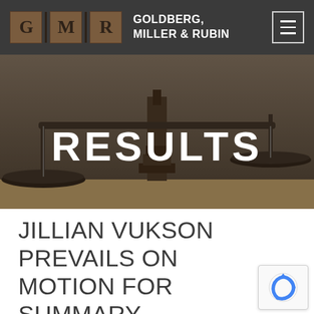GOLDBERG, MILLER & RUBIN
[Figure (photo): Dark background photo of a legal scales of justice balance, with "RESULTS" text overlaid in bold white capital letters]
JILLIAN VUKSON PREVAILS ON MOTION FOR SUMMARY JUDGMENT IN